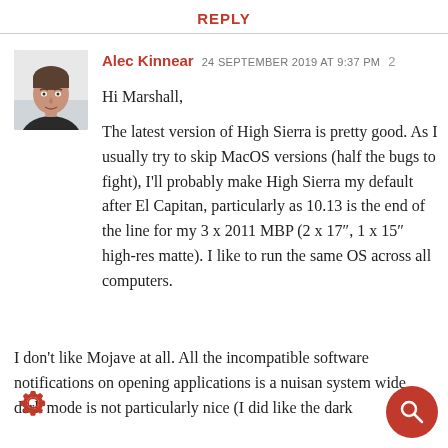REPLY
Alec Kinnear  24 SEPTEMBER 2019 AT 9:37 PM  2
[Figure (photo): Avatar photo of Alec Kinnear, a middle-aged man with short hair against a light background]
Hi Marshall,
The latest version of High Sierra is pretty good. As I usually try to skip MacOS versions (half the bugs to fight), I'll probably make High Sierra my default after El Capitan, particularly as 10.13 is the end of the line for my 3 x 2011 MBP (2 x 17", 1 x 15" high-res matte). I like to run the same OS across all computers.
I don't like Mojave at all. All the incompatible software notifications on opening applications is a nuisan system wide dark mode is not particularly nice (I did like the dark